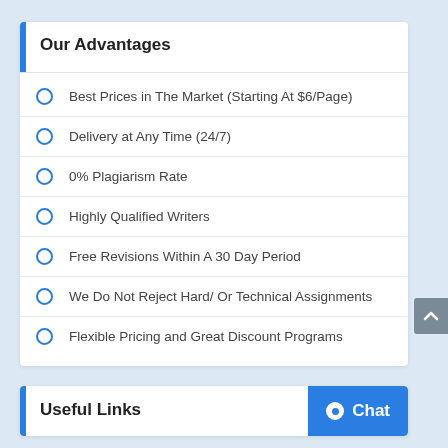Our Advantages
Best Prices in The Market (Starting At $6/Page)
Delivery at Any Time (24/7)
0% Plagiarism Rate
Highly Qualified Writers
Free Revisions Within A 30 Day Period
We Do Not Reject Hard/ Or Technical Assignments
Flexible Pricing and Great Discount Programs
Useful Links